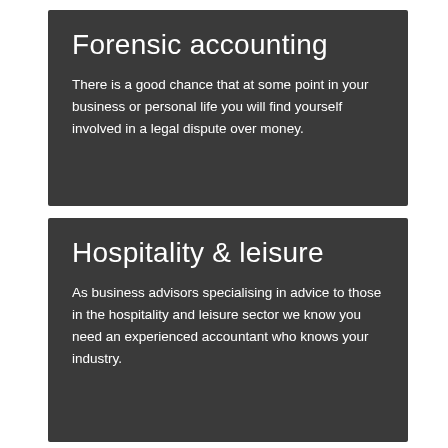Forensic accounting
There is a good chance that at some point in your business or personal life you will find yourself involved in a legal dispute over money.
Hospitality & leisure
As business advisors specialising in advice to those in the hospitality and leisure sector we know you need an experienced accountant who knows your industry.